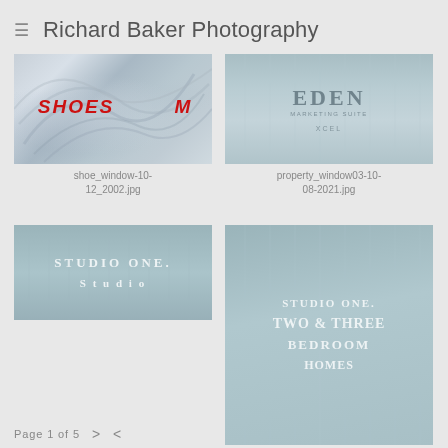Richard Baker Photography
[Figure (photo): Shoe window display with swirling white and blue-grey paint texture. Text overlay reads SHOES and M in bold red italic letters.]
shoe_window-10-12_2002.jpg
[Figure (photo): Property window display with teal/grey background showing stylized text including EDEN and marketing copy. Bottom right shows XCEL branding.]
property_window03-10-08-2021.jpg
[Figure (photo): Studio One apartment marketing image with muted teal background and white serif text reading STUDIO ONE.]
[Figure (photo): Studio One, Two & Three Bedroom Homes apartment marketing image with teal background and stylized serif text overlay.]
Page 1 of 5